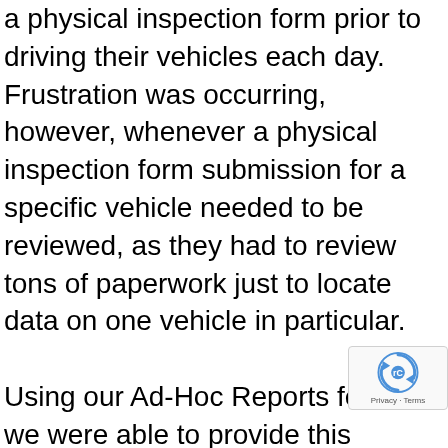a physical inspection form prior to driving their vehicles each day. Frustration was occurring, however, whenever a physical inspection form submission for a specific vehicle needed to be reviewed, as they had to review tons of paperwork just to locate data on one vehicle in particular.

Using our Ad-Hoc Reports feature, we were able to provide this organization with the digital ability to display relevant information collected on the physical inspection form through our software. Then, their administrators could run whenever they needed to find the information on a specific vehicle. This report was set up to send out the previous day's physical inspection form submissions, helping their company regularly...
[Figure (logo): reCAPTCHA badge with spinning arrows logo and 'Privacy - Terms' text]